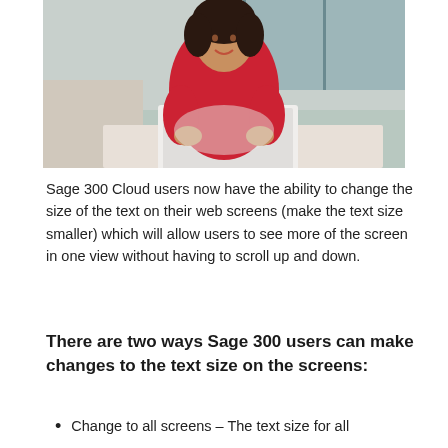[Figure (photo): A woman in a red top sitting at a desk with a white laptop, in an office environment with glass walls in the background, smiling at the camera.]
Sage 300 Cloud users now have the ability to change the size of the text on their web screens (make the text size smaller) which will allow users to see more of the screen in one view without having to scroll up and down.
There are two ways Sage 300 users can make changes to the text size on the screens:
Change to all screens – The text size for all